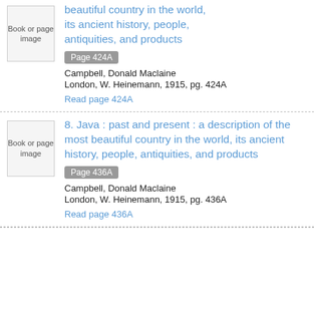beautiful country in the world, its ancient history, people, antiquities, and products
Page 424A
Campbell, Donald Maclaine
London, W. Heinemann, 1915, pg. 424A
Read page 424A
8. Java : past and present : a description of the most beautiful country in the world, its ancient history, people, antiquities, and products
Page 436A
Campbell, Donald Maclaine
London, W. Heinemann, 1915, pg. 436A
Read page 436A